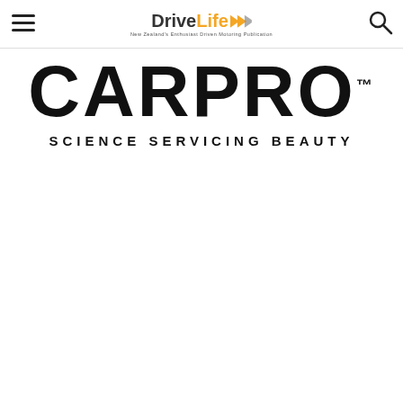DriveLife — New Zealand's Enthusiast Driven Motoring Publication
[Figure (logo): CARPRO logo with tagline 'SCIENCE SERVICING BEAUTY']